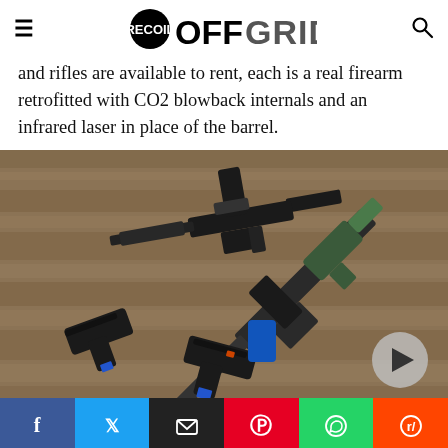RECOIL OFFGRID
and rifles are available to rent, each is a real firearm retrofitted with CO2 blowback internals and an infrared laser in place of the barrel.
[Figure (photo): Multiple airsoft/laser-tag firearms laid out on a wooden surface, including pistols, rifles, and magazines with blue and orange accents.]
[Figure (infographic): Social sharing bar with Facebook, Twitter, Email, Pinterest, WhatsApp, and Reddit buttons.]